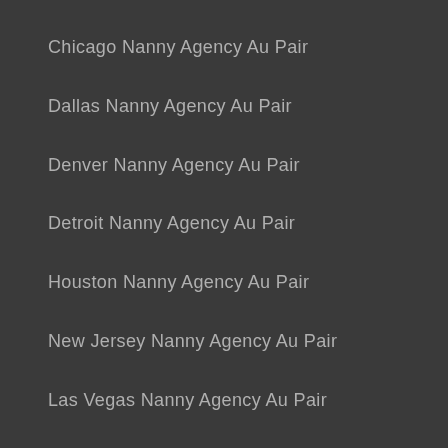Chicago Nanny Agency Au Pair
Dallas Nanny Agency Au Pair
Denver Nanny Agency Au Pair
Detroit Nanny Agency Au Pair
Houston Nanny Agency Au Pair
New Jersey Nanny Agency Au Pair
Las Vegas Nanny Agency Au Pair